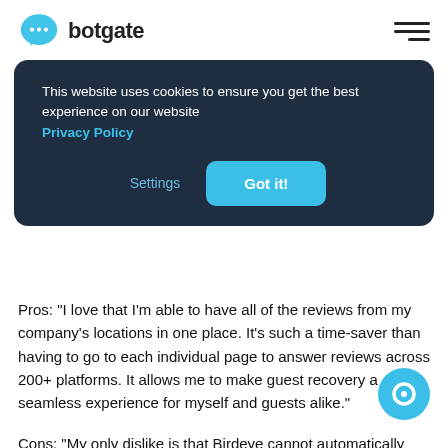[Figure (logo): Botgate logo: blue chat bubble icon with three dots, followed by bold text 'botgate']
This website uses cookies to ensure you get the best experience on our website Privacy Policy
Settings   Got it!
Pros: "I love that I'm able to have all of the reviews from my company's locations in one place. It's such a time-saver than having to go to each individual page to answer reviews across 200+ platforms. It allows me to make guest recovery a seamless experience for myself and guests alike."
Cons: "My only dislike is that Birdeye cannot automatically create tickets for Facebook reviews.